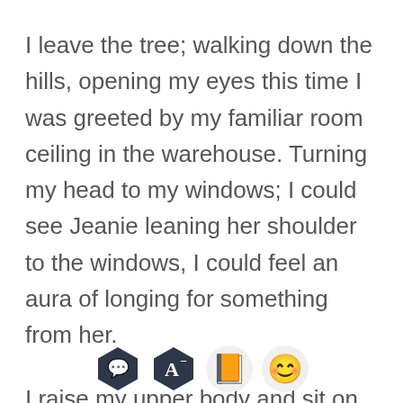I leave the tree; walking down the hills, opening my eyes this time I was greeted by my familiar room ceiling in the warehouse. Turning my head to my windows; I could see Jeanie leaning her shoulder to the windows, I could feel an aura of longing for something from her.
I raise my upper body and sit on the bed; "hey, you brought me here?" I ask
"yes, I don't want to bother your sleep so teleport
[Figure (infographic): App toolbar with four icons: dark hexagon chat bubble, dark hexagon letter A with superscript minus, light circle orange book, light circle smiling face emoji]